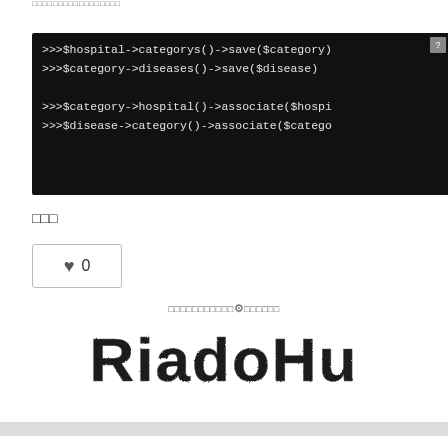□□□□□□□□□□□□□□□□□
[Figure (screenshot): Black terminal/console background showing PHP code: >>>$hospital->categorys()->save($category) >>>$category->diseases()->save($disease) >>>$category->hospital()->associate($hospi >>>$disease->category()->associate($catego with a '?' badge in the top-right corner]
□□□
[Figure (other): Like/heart button with count 0]
□□□□□□□□□□□⚙□□□□□□
[Figure (logo): Stylized distressed text logo reading 'RiadoHu' or similar in dark cracked/grunge style lettering]